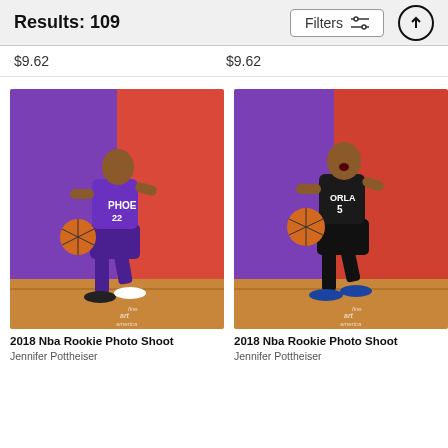Results: 109
$9.62   $9.62
[Figure (photo): Phoenix Suns NBA rookie in purple uniform dribbling basketball, 2018 NBA Rookie Photo Shoot by Jennifer Pottheiser, fine art america watermark]
2018 Nba Rookie Photo Shoot
Jennifer Pottheiser
[Figure (photo): Orlando Magic NBA rookie in black #5 uniform dribbling basketball, 2018 NBA Rookie Photo Shoot by Jennifer Pottheiser, fine art america watermark]
2018 Nba Rookie Photo Shoot
Jennifer Pottheiser